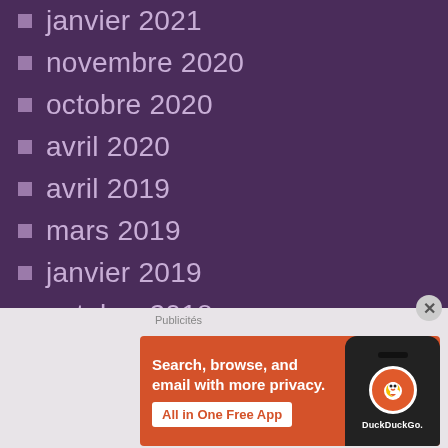janvier 2021
novembre 2020
octobre 2020
avril 2020
avril 2019
mars 2019
janvier 2019
octobre 2018
juillet 2018
avril 2018
mars 2018
février 2018
[Figure (screenshot): DuckDuckGo advertisement banner with orange background. Text reads 'Search, browse, and email with more privacy. All in One Free App' with a phone image showing the DuckDuckGo logo.]